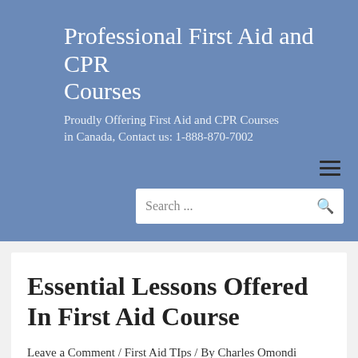Professional First Aid and CPR Courses
Proudly Offering First Aid and CPR Courses in Canada, Contact us: 1-888-870-7002
[Figure (other): Hamburger navigation menu icon with three horizontal lines]
[Figure (other): Search bar with placeholder text 'Search ...' and a search icon]
Essential Lessons Offered In First Aid Course
Leave a Comment / First Aid TIps / By Charles Omondi